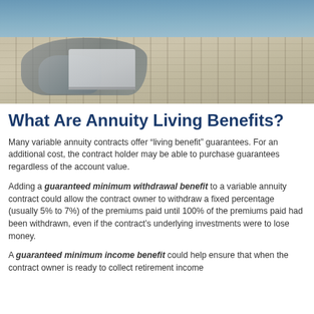[Figure (photo): Person lying on a wooden dock by water with a laptop, viewed from above]
What Are Annuity Living Benefits?
Many variable annuity contracts offer “living benefit” guarantees. For an additional cost, the contract holder may be able to purchase guarantees regardless of the account value.
Adding a guaranteed minimum withdrawal benefit to a variable annuity contract could allow the contract owner to withdraw a fixed percentage (usually 5% to 7%) of the premiums paid until 100% of the premiums paid had been withdrawn, even if the contract’s underlying investments were to lose money.
A guaranteed minimum income benefit could help ensure that when the contract owner is ready to collect retirement income